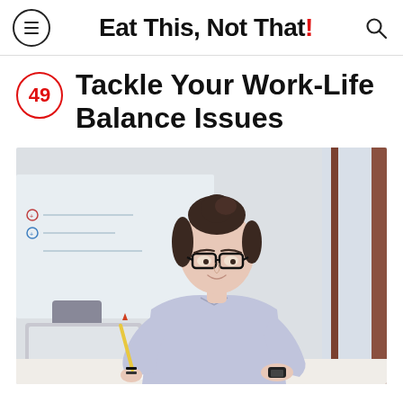Eat This, Not That!
49 Tackle Your Work-Life Balance Issues
[Figure (photo): Young woman with glasses and hair in a bun, wearing a light blue shirt and black watch, leaning over a desk holding a pencil, smiling, with a laptop and whiteboard in the background.]